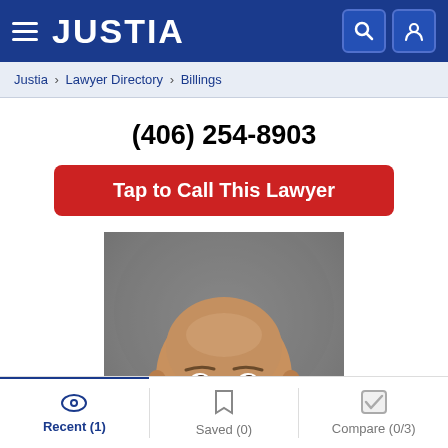JUSTIA
Justia > Lawyer Directory > Billings
(406) 254-8903
Tap to Call This Lawyer
[Figure (photo): Professional headshot of a bald smiling man in a dark suit jacket against a gray background]
Recent (1)  Saved (0)  Compare (0/3)